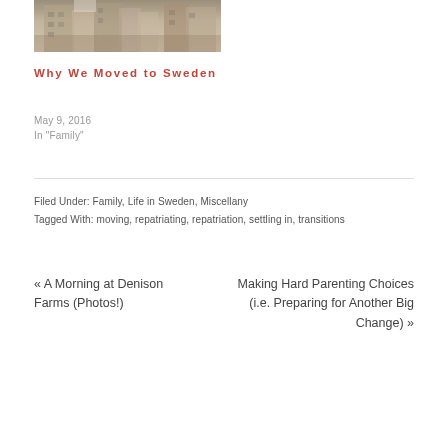[Figure (photo): Street scene photo showing narrow European alley with tall stone buildings]
Why We Moved to Sweden
May 9, 2016
In "Family"
Filed Under: Family, Life in Sweden, Miscellany
Tagged With: moving, repatriating, repatriation, settling in, transitions
« A Morning at Denison Farms (Photos!)
Making Hard Parenting Choices (i.e. Preparing for Another Big Change) »